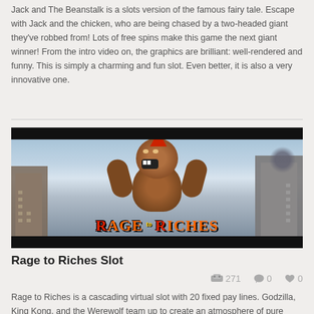Jack and The Beanstalk is a slots version of the famous fairy tale. Escape with Jack and the chicken, who are being chased by a two-headed giant they've robbed from! Lots of free spins make this game the next giant winner! From the intro video on, the graphics are brilliant: well-rendered and funny. This is simply a charming and fun slot. Even better, it is also a very innovative one.
[Figure (photo): Rage to Riches slot game promotional image showing a large gorilla/King Kong-like creature standing in a city with buildings, with the text 'Rage to Riches' in stylized red and orange lettering at the bottom.]
Rage to Riches Slot
271  0  0
Rage to Riches is a cascading virtual slot with 20 fixed pay lines. Godzilla, King Kong, and the Werewolf team up to create an atmosphere of pure excitement. Rage to Riches includes a wild symbol (Rage to Riches logo) and a free spin pattern symbol (literally). The wild symbol substitutes for